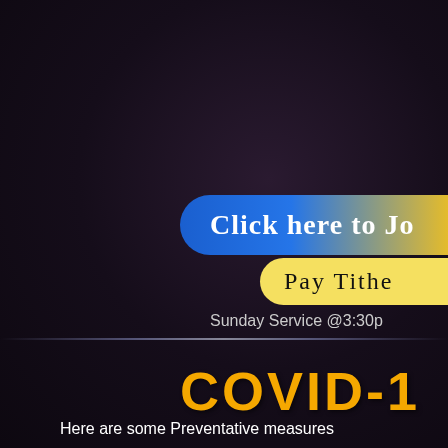Click here to Jo
Pay Tithe
Sunday Service @3:30p
COVID-1
Here are some Preventative measures